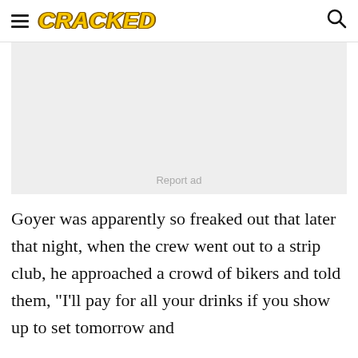CRACKED
[Figure (other): Advertisement placeholder box with light gray background and 'Report ad' text]
Goyer was apparently so freaked out that later that night, when the crew went out to a strip club, he approached a crowd of bikers and told them, "I'll pay for all your drinks if you show up to set tomorrow and